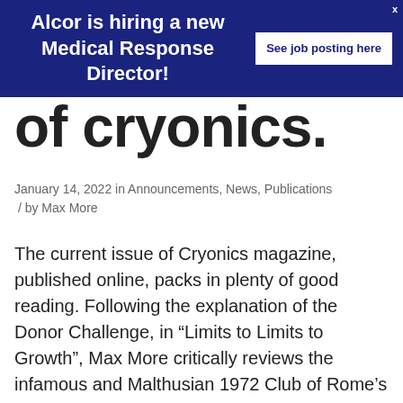Alcor is hiring a new Medical Response Director! | See job posting here
of cryonics.
January 14, 2022 in Announcements, News, Publications / by Max More
The current issue of Cryonics magazine, published online, packs in plenty of good reading. Following the explanation of the Donor Challenge, in “Limits to Limits to Growth”, Max More critically reviews the infamous and Malthusian 1972 Club of Rome’s report Limits to Growth and how its claims have held up since. An accompanying piece, “Peak [...]